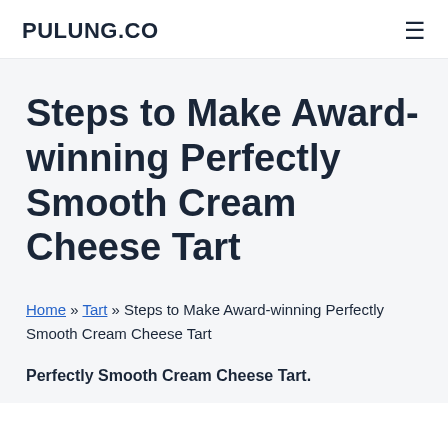PULUNG.CO
Steps to Make Award-winning Perfectly Smooth Cream Cheese Tart
Home » Tart » Steps to Make Award-winning Perfectly Smooth Cream Cheese Tart
Perfectly Smooth Cream Cheese Tart.